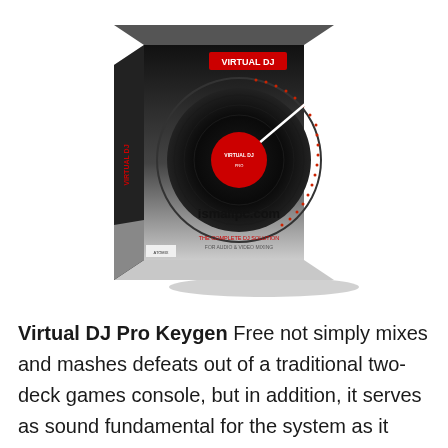[Figure (illustration): Virtual DJ Pro software box with black design featuring a turntable/vinyl record graphic with red LED ring, VIRTUAL DJ logo in red/white at top, 'ismailpc.com' text on the front, and 'THE COMPLETE DJ SOLUTION FOR AUDIO & VIDEO MIXING' tagline at the bottom.]
Virtual DJ Pro Keygen Free not simply mixes and mashes defeats out of a traditional two-deck games console, but in addition, it serves as sound fundamental for the system as it also displays video and audio, burns discs, as well as broadcasts online